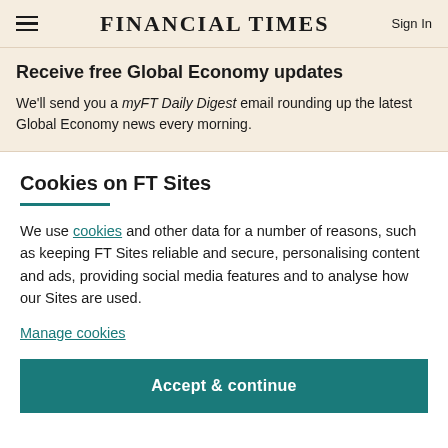FINANCIAL TIMES | Sign In
Receive free Global Economy updates
We'll send you a myFT Daily Digest email rounding up the latest Global Economy news every morning.
Cookies on FT Sites
We use cookies and other data for a number of reasons, such as keeping FT Sites reliable and secure, personalising content and ads, providing social media features and to analyse how our Sites are used.
Manage cookies
Accept & continue